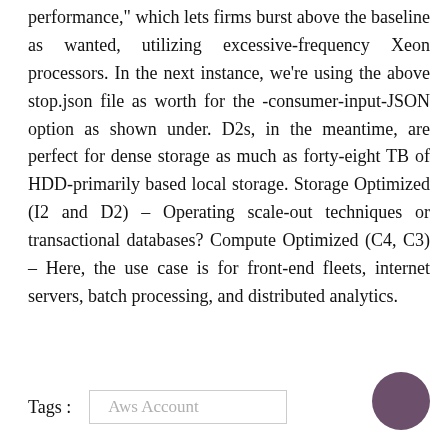performance," which lets firms burst above the baseline as wanted, utilizing excessive-frequency Xeon processors. In the next instance, we're using the above stop.json file as worth for the -consumer-input-JSON option as shown under. D2s, in the meantime, are perfect for dense storage as much as forty-eight TB of HDD-primarily based local storage. Storage Optimized (I2 and D2) – Operating scale-out techniques or transactional databases? Compute Optimized (C4, C3) – Here, the use case is for front-end fleets, internet servers, batch processing, and distributed analytics.
Tags :  Aws Account